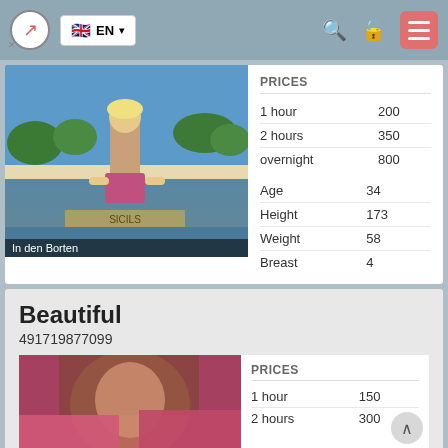EN
PRICES
|  |  |
| --- | --- |
| 1 hour | 200 |
| 2 hours | 350 |
| overnight | 800 |
|  |  |
| --- | --- |
| Age | 34 |
| Height | 173 |
| Weight | 58 |
| Breast | 4 |
In den Borten
Beautiful
491719877099
PRICES
|  |  |
| --- | --- |
| 1 hour | 150 |
| 2 hours | 300 |